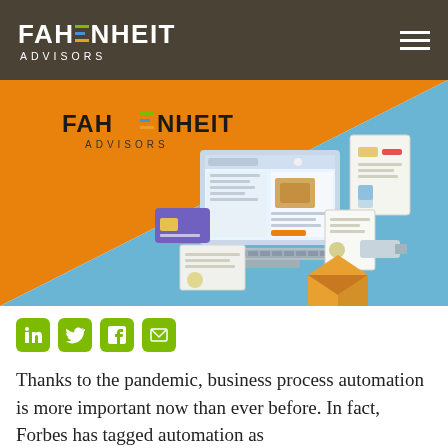FAHRENHEIT ADVISORS
[Figure (illustration): Fahrenheit Advisors branded banner image with orange and blue diagonal background, showing an isometric illustration of a laptop computer with e-commerce interface, credit card, shipping boxes, and documents]
[Figure (infographic): Social sharing icons row: LinkedIn, Twitter, Facebook, Email — green rounded square buttons]
Thanks to the pandemic, business process automation is more important now than ever before. In fact, Forbes has tagged automation as